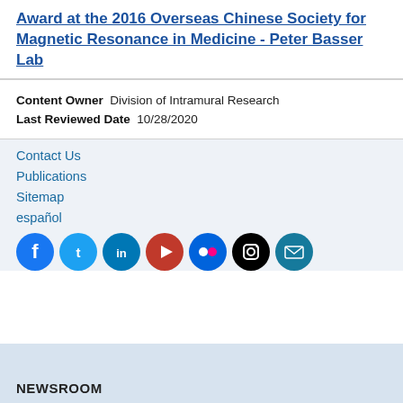Award at the 2016 Overseas Chinese Society for Magnetic Resonance in Medicine - Peter Basser Lab
Content Owner  Division of Intramural Research
Last Reviewed Date  10/28/2020
Contact Us
Publications
Sitemap
español
[Figure (infographic): Social media icons row: Facebook (blue), Twitter (light blue), LinkedIn (dark blue), YouTube/Play (red), Flickr (pink/teal), Instagram (black), Email (teal)]
BACK TO TOP
NEWSROOM